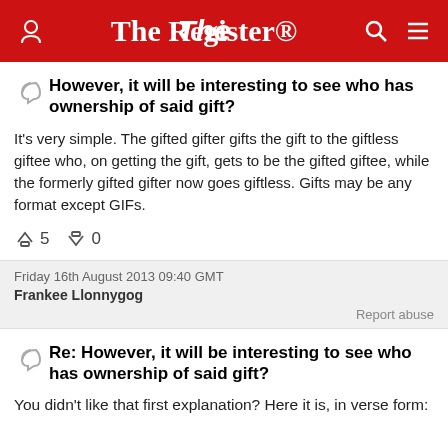The Register
However, it will be interesting to see who has ownership of said gift?
It's very simple. The gifted gifter gifts the gift to the giftless giftee who, on getting the gift, gets to be the gifted giftee, while the formerly gifted gifter now goes giftless. Gifts may be any format except GIFs.
↑5  ↓0
Friday 16th August 2013 09:40 GMT
Frankee Llonnygog
Report abuse
Re: However, it will be interesting to see who has ownership of said gift?
You didn't like that first explanation? Here it is, in verse form: